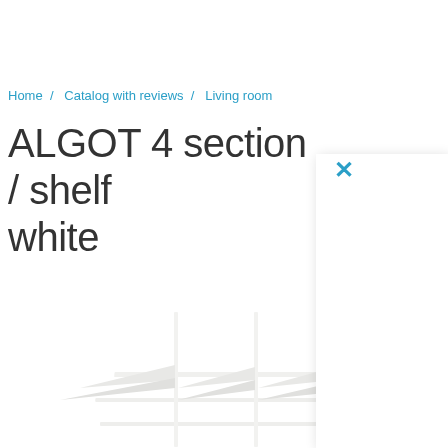Home / Catalog with reviews / Living room
ALGOT 4 section / shelf white
[Figure (photo): White ALGOT wall-mounted shelf unit with 4 sections showing horizontal shelves and vertical supports against white background. A popup/modal overlay box with a blue X close button appears on the right side.]